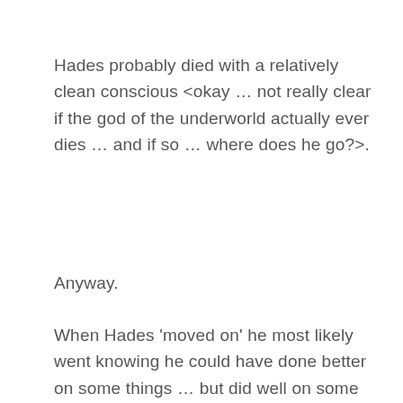Hades probably died with a relatively clean conscious <okay … not really clear if the god of the underworld actually ever dies … and if so … where does he go?>.
Anyway.
When Hades 'moved on' he most likely went knowing he could have done better on some things … but did well on some things.